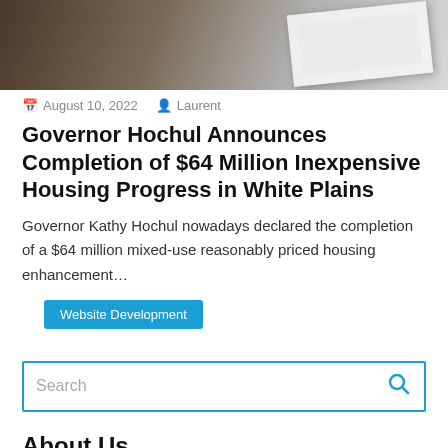[Figure (photo): Top portion of article page showing a cropped photo of documents/papers on a dark wooden surface with a white paper/device visible]
August 10, 2022   Laurent
Governor Hochul Announces Completion of $64 Million Inexpensive Housing Progress in White Plains
Governor Kathy Hochul nowadays declared the completion of a $64 million mixed-use reasonably priced housing enhancement…
Website Development
Search
About Us
Contact Us
Advertise Here